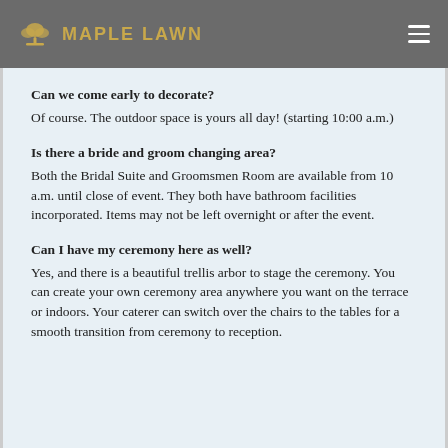MAPLE LAWN
Can we come early to decorate?
Of course. The outdoor space is yours all day! (starting 10:00 a.m.)
Is there a bride and groom changing area?
Both the Bridal Suite and Groomsmen Room are available from 10 a.m. until close of event. They both have bathroom facilities incorporated. Items may not be left overnight or after the event.
Can I have my ceremony here as well?
Yes, and there is a beautiful trellis arbor to stage the ceremony. You can create your own ceremony area anywhere you want on the terrace or indoors. Your caterer can switch over the chairs to the tables for a smooth transition from ceremony to reception.